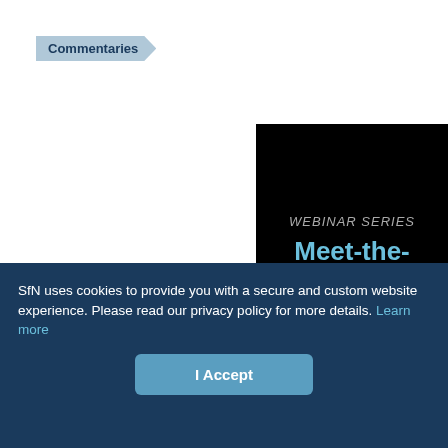Commentaries
[Figure (illustration): Webinar Series 'Meet-the-Expert' promotional banner on black background with a 'Learn More' button]
SfN uses cookies to provide you with a secure and custom website experience. Please read our privacy policy for more details. Learn more
I Accept